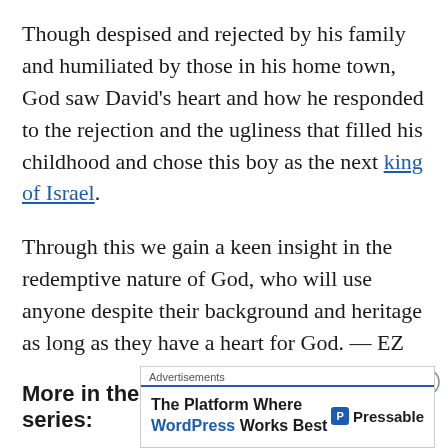Though despised and rejected by his family and humiliated by those in his home town, God saw David's heart and how he responded to the rejection and the ugliness that filled his childhood and chose this boy as the next king of Israel.
Through this we gain a keen insight in the redemptive nature of God, who will use anyone despite their background and heritage as long as they have a heart for God. — EZ
More in the Tabernacle of David series:
[Figure (other): Advertisement banner for Pressable: 'The Platform Where WordPress Works Best']